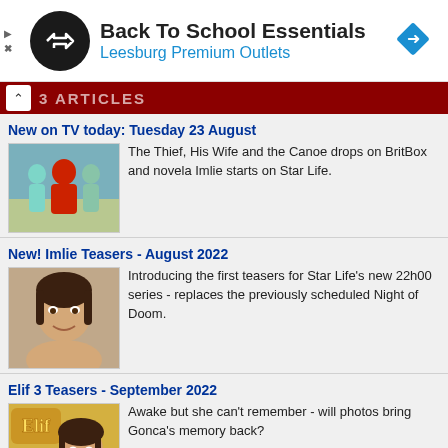[Figure (infographic): Advertisement banner for Back To School Essentials at Leesburg Premium Outlets, with black circular logo with arrow icon and a blue diamond navigation icon on the right.]
[Figure (screenshot): Navigation bar with dark red background showing partial text 'ARTICLES' and a back caret button]
New on TV today: Tuesday 23 August
[Figure (photo): Thumbnail image for The Thief, His Wife and the Canoe article]
The Thief, His Wife and the Canoe drops on BritBox and novela Imlie starts on Star Life.
New! Imlie Teasers - August 2022
[Figure (photo): Thumbnail image for Imlie Teasers article showing a young woman]
Introducing the first teasers for Star Life's new 22h00 series - replaces the previously scheduled Night of Doom.
Elif 3 Teasers - September 2022
[Figure (photo): Thumbnail image for Elif 3 Teasers showing a young girl with braids and the Elif logo]
Awake but she can't remember - will photos bring Gonca's memory back?